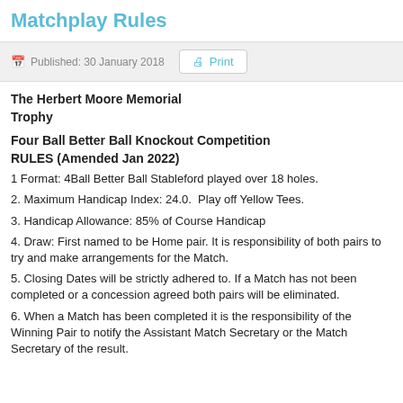Matchplay Rules
Published: 30 January 2018
The Herbert Moore Memorial Trophy
Four Ball Better Ball Knockout Competition
RULES (Amended Jan 2022)
1 Format: 4Ball Better Ball Stableford played over 18 holes.
2. Maximum Handicap Index: 24.0.  Play off Yellow Tees.
3. Handicap Allowance: 85% of Course Handicap
4. Draw: First named to be Home pair. It is responsibility of both pairs to try and make arrangements for the Match.
5. Closing Dates will be strictly adhered to. If a Match has not been completed or a concession agreed both pairs will be eliminated.
6. When a Match has been completed it is the responsibility of the Winning Pair to notify the Assistant Match Secretary or the Match Secretary of the result.